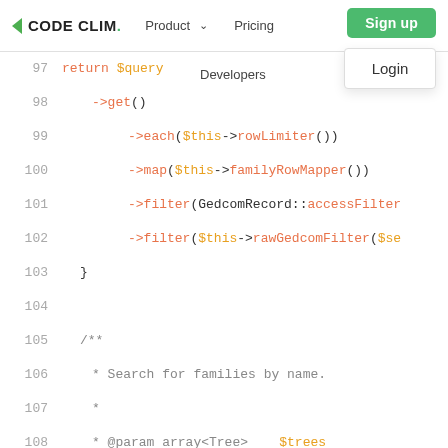CODE CLIMATE | Product | Pricing | Sign up | Login | Developers
97    return $query
98        ->get()
99            ->each($this->rowLimiter())
100            ->map($this->familyRowMapper())
101            ->filter(GedcomRecord::accessFilter
102            ->filter($this->rawGedcomFilter($se
103    }
104
105    /**
106     * Search for families by name.
107     *
108     * @param array<Tree>    $trees
109     * @param array<string>  $search
110     * @param int            $offset
111     * @param int            $limit
112     *
113     * @return Collection<int, Family>